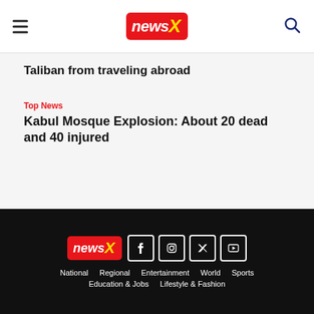newsX
Taliban from traveling abroad
Top News
Kabul Mosque Explosion: About 20 dead and 40 injured
newsX | National Regional Entertainment World Sports Education & Jobs Lifestyle & Fashion